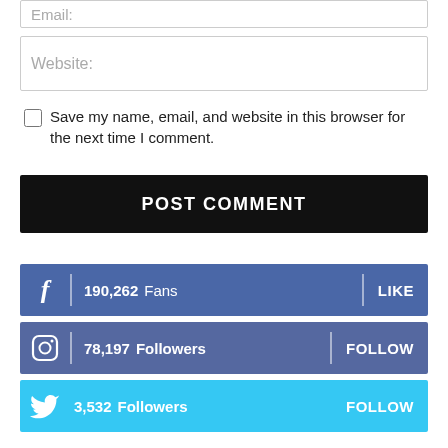Email:
Website:
Save my name, email, and website in this browser for the next time I comment.
POST COMMENT
190,262  Fans   LIKE
78,197  Followers   FOLLOW
3,532  Followers   FOLLOW